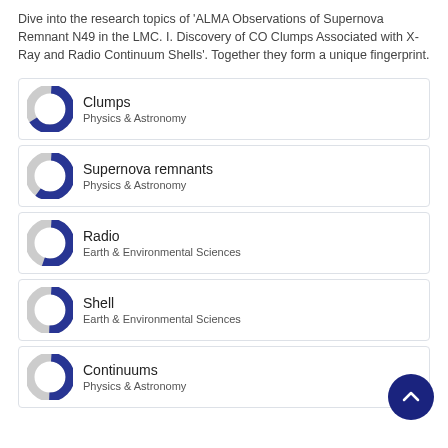Dive into the research topics of 'ALMA Observations of Supernova Remnant N49 in the LMC. I. Discovery of CO Clumps Associated with X-Ray and Radio Continuum Shells'. Together they form a unique fingerprint.
[Figure (infographic): Donut chart icon for 'Clumps' topic – blue and gray donut, approximately 65% blue fill]
Clumps
Physics & Astronomy
[Figure (infographic): Donut chart icon for 'Supernova remnants' topic – blue and gray donut, approximately 60% blue fill]
Supernova remnants
Physics & Astronomy
[Figure (infographic): Donut chart icon for 'Radio' topic – blue and gray donut, approximately 55% blue fill]
Radio
Earth & Environmental Sciences
[Figure (infographic): Donut chart icon for 'Shell' topic – blue and gray donut, approximately 50% blue fill]
Shell
Earth & Environmental Sciences
[Figure (infographic): Donut chart icon for 'Continuums' topic – blue and gray donut, approximately 50% blue fill]
Continuums
Physics & Astronomy